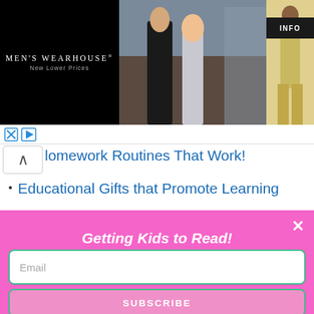[Figure (screenshot): Men's Wearhouse advertisement banner showing a couple in formal wear and a man in a tan suit, with INFO button]
lomework Routines That Work!
Educational Gifts that Promote Learning
Getting Kids to Read!
Hit the subscribe button for free ebooks, documents and information on getting kids to read!
Reading-love.com
Email
SUBSCRIBE